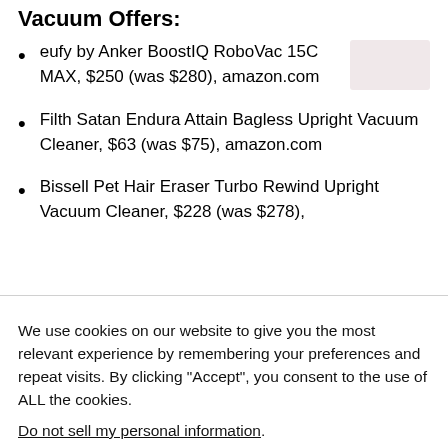Vacuum Offers:
eufy by Anker BoostIQ RoboVac 15C MAX, $250 (was $280), amazon.com
Filth Satan Endura Attain Bagless Upright Vacuum Cleaner, $63 (was $75), amazon.com
Bissell Pet Hair Eraser Turbo Rewind Upright Vacuum Cleaner, $228 (was $278),
We use cookies on our website to give you the most relevant experience by remembering your preferences and repeat visits. By clicking “Accept”, you consent to the use of ALL the cookies.
Do not sell my personal information.
Cookie Settings  Accept